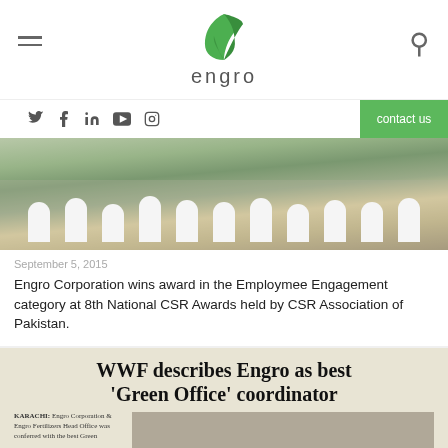Engro Corporation — site header with logo, hamburger menu, search icon
Social icons: Twitter, Facebook, LinkedIn, YouTube, Instagram | contact us
[Figure (photo): Group photo of Engro employees in white t-shirts seated/standing outdoors]
September 5, 2015
Engro Corporation wins award in the Employmee Engagement category at 8th National CSR Awards held by CSR Association of Pakistan.
[Figure (photo): Newspaper clipping: 'WWF describes Engro as best Green Office coordinator' — headline with article text and photos]